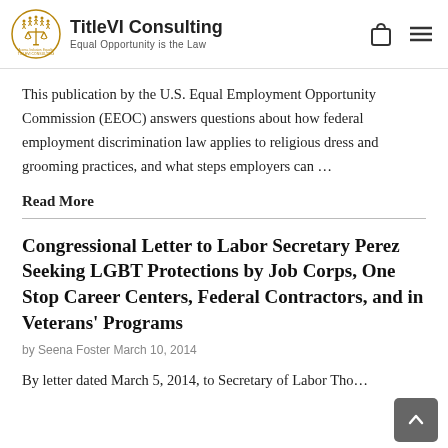TitleVI Consulting — Equal Opportunity is the Law
This publication by the U.S. Equal Employment Opportunity Commission (EEOC) answers questions about how federal employment discrimination law applies to religious dress and grooming practices, and what steps employers can …
Read More
Congressional Letter to Labor Secretary Perez Seeking LGBT Protections by Job Corps, One Stop Career Centers, Federal Contractors, and in Veterans' Programs
by Seena Foster March 10, 2014
By letter dated March 5, 2014, to Secretary of Labor Tho…